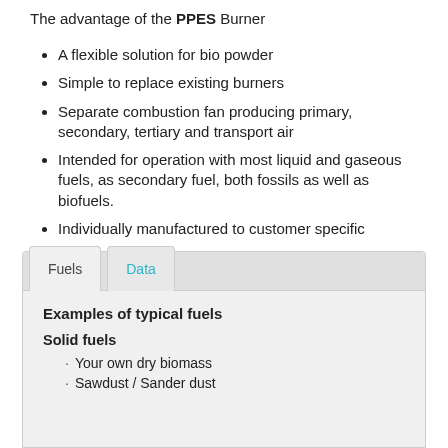The advantage of the PPES Burner
A flexible solution for bio powder
Simple to replace existing burners
Separate combustion fan producing primary, secondary, tertiary and transport air
Intended for operation with most liquid and gaseous fuels, as secondary fuel, both fossils as well as biofuels.
Individually manufactured to customer specific
Examples of typical fuels
Solid fuels
Your own dry biomass
Sawdust / Sander dust